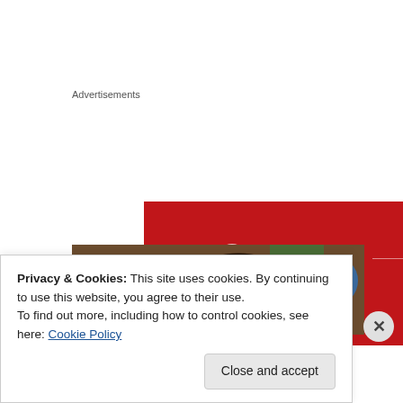Advertisements
[Figure (illustration): Longreads advertisement banner with red background, circular L logo, brand name LONGREADS, decorative horizontal lines, and italic text 'The best stories on']
[Figure (photo): Close-up photograph of cracked open coconuts showing white coconut flesh, with green and blue elements visible in background]
Privacy & Cookies: This site uses cookies. By continuing to use this website, you agree to their use.
To find out more, including how to control cookies, see here: Cookie Policy
Close and accept